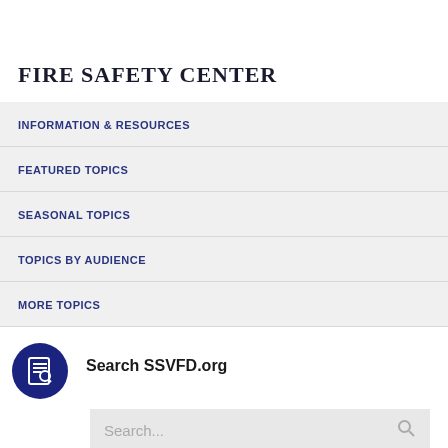FIRE SAFETY CENTER
INFORMATION & RESOURCES
FEATURED TOPICS
SEASONAL TOPICS
TOPICS BY AUDIENCE
MORE TOPICS
Search SSVFD.org
Community